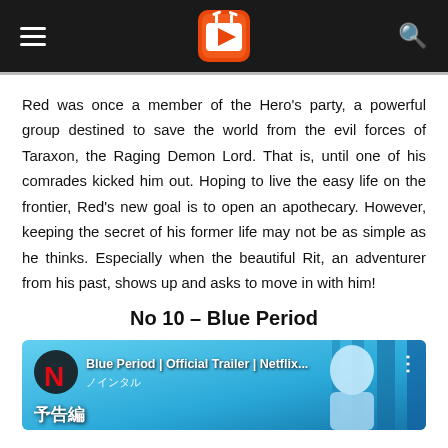Navigation bar with hamburger menu, logo, and search icon
Red was once a member of the Hero's party, a powerful group destined to save the world from the evil forces of Taraxon, the Raging Demon Lord. That is, until one of his comrades kicked him out. Hoping to live the easy life on the frontier, Red's new goal is to open an apothecary. However, keeping the secret of his former life may not be as simple as he thinks. Especially when the beautiful Rit, an adventurer from his past, shows up and asks to move in with him!
No 10 – Blue Period
[Figure (screenshot): Blue Period Netflix official trailer thumbnail with Netflix logo, Japanese text 予告編, and anime character artwork on blue background]